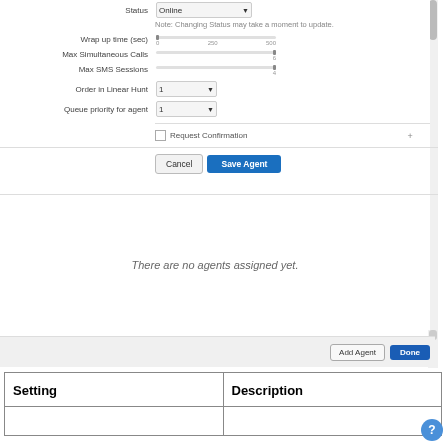[Figure (screenshot): Form interface showing agent settings: Status (Online dropdown), note about status change, Wrap up time slider, Max Simultaneous Calls slider, Max SMS Sessions slider, Order in Linear Hunt dropdown (1), Queue priority for agent dropdown (1), Request Confirmation checkbox, Cancel and Save Agent buttons. Below that is an empty agents panel showing 'There are no agents assigned yet.' with Add Agent and Done buttons.]
| Setting | Description |
| --- | --- |
|  |  |